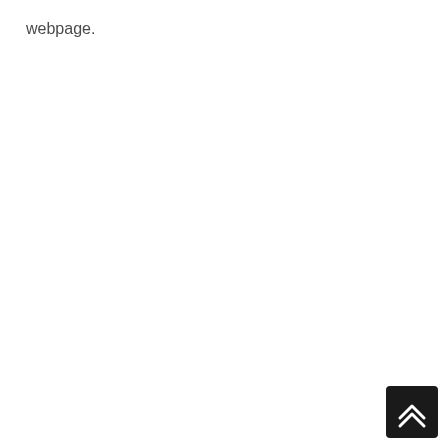webpage.
[Figure (other): Dark square button with double chevron/arrow pointing upward (scroll-to-top button), positioned at the bottom-right corner of the page.]